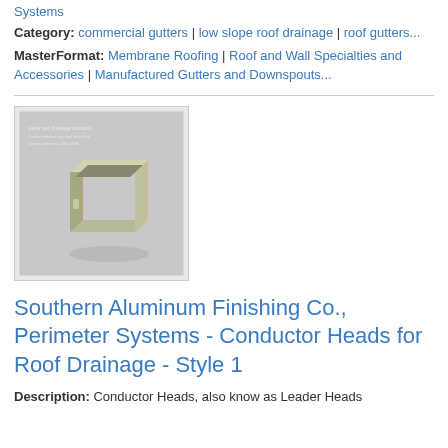Systems
Category: commercial gutters | low slope roof drainage | roof gutters...
MasterFormat: Membrane Roofing | Roof and Wall Specialties and Accessories | Manufactured Gutters and Downspouts...
[Figure (photo): Photo of a conductor head / leader head box product from Southern Aluminum Finishing Co., Perimeter Systems - a square open-top metal box with a handle opening, shown in a light greenish-beige color against a gray background.]
Southern Aluminum Finishing Co., Perimeter Systems - Conductor Heads for Roof Drainage - Style 1
Description: Conductor Heads, also know as Leader Heads